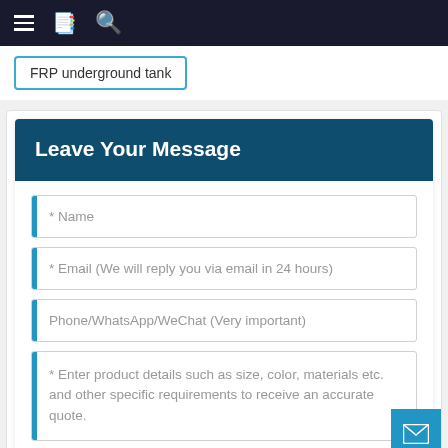≡ 📋 🔍
FRP underground tank
Leave Your Message
* Name
* Email (We will reply you via email in 24 hours)
Phone/WhatsApp/WeChat (Very important)
* Enter product details such as size, color, materials etc. and other specific requirements to receive an accurate quote.